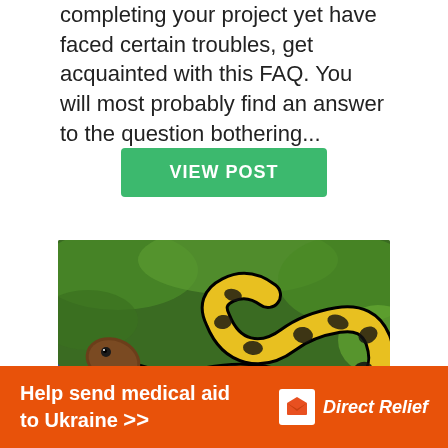completing your project yet have faced certain troubles, get acquainted with this FAQ. You will most probably find an answer to the question bothering...
[Figure (other): Green button labeled VIEW POST]
[Figure (photo): A yellow and black patterned snake with its tongue out, coiled among green moss and reddish rocks]
Introduction to Snake Repellent: Types
[Figure (other): Orange advertisement banner: Help send medical aid to Ukraine >> with Direct Relief logo]